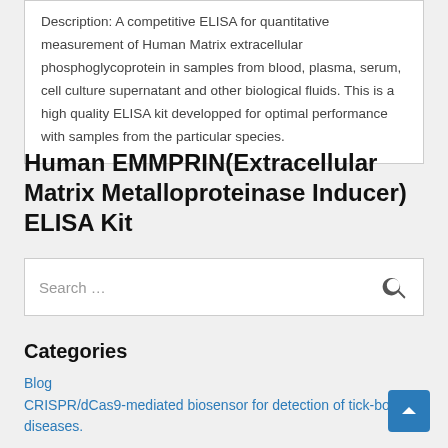Description: A competitive ELISA for quantitative measurement of Human Matrix extracellular phosphoglycoprotein in samples from blood, plasma, serum, cell culture supernatant and other biological fluids. This is a high quality ELISA kit developped for optimal performance with samples from the particular species.
Human EMMPRIN(Extracellular Matrix Metalloproteinase Inducer) ELISA Kit
Search …
Categories
Blog
CRISPR/dCas9-mediated biosensor for detection of tick-borne diseases.